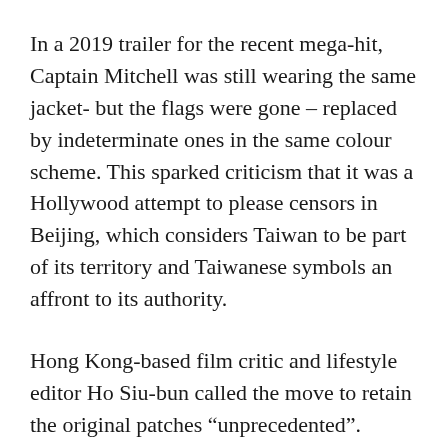In a 2019 trailer for the recent mega-hit, Captain Mitchell was still wearing the same jacket- but the flags were gone – replaced by indeterminate ones in the same colour scheme. This sparked criticism that it was a Hollywood attempt to please censors in Beijing, which considers Taiwan to be part of its territory and Taiwanese symbols an affront to its authority.
Hong Kong-based film critic and lifestyle editor Ho Siu-bun called the move to retain the original patches “unprecedented”.
“Major film studios have never been shy about pandering to the Chinese market,” he told VICE